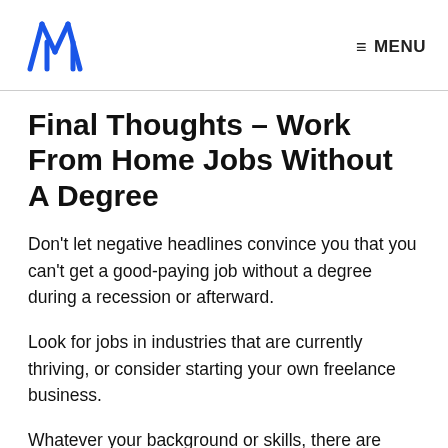MENU
Final Thoughts – Work From Home Jobs Without A Degree
Don't let negative headlines convince you that you can't get a good-paying job without a degree during a recession or afterward.
Look for jobs in industries that are currently thriving, or consider starting your own freelance business.
Whatever your background or skills, there are plenty of remote job opportunities available for people